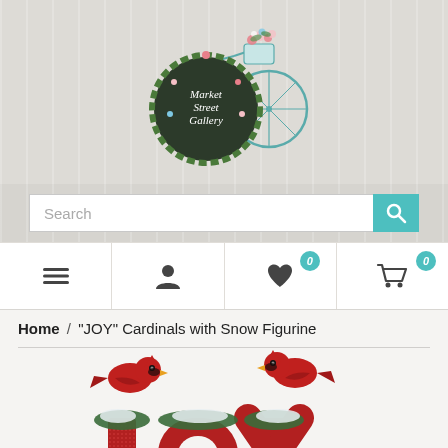[Figure (logo): Market Street Gallery logo: circular dark chalkboard sign with cursive text 'Market Street Gallery', surrounded by green wreath, with a vintage bicycle and flower basket]
[Figure (screenshot): Search bar with placeholder text 'Search' and teal search button with magnifying glass icon]
[Figure (screenshot): Navigation bar with hamburger menu icon, user/account icon, heart/wishlist icon with badge '0', and shopping cart icon with badge '0']
Home / "JOY" Cardinals with Snow Figurine
[Figure (photo): Partial view of a JOY Cardinals with Snow Figurine showing two red cardinal birds perched on decorative letters spelling JOY with snow and greenery accents]